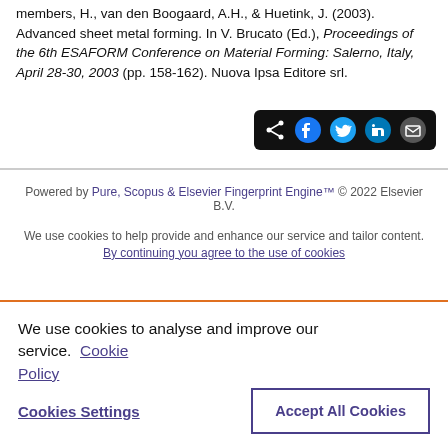members, H., van den Boogaard, A.H., & Huetink, J. (2003). Advanced sheet metal forming. In V. Brucato (Ed.), Proceedings of the 6th ESAFORM Conference on Material Forming: Salerno, Italy, April 28-30, 2003 (pp. 158-162). Nuova Ipsa Editore srl.
[Figure (other): Share bar with icons for share, Facebook, Twitter, LinkedIn, and email on black background]
Powered by Pure, Scopus & Elsevier Fingerprint Engine™ © 2022 Elsevier B.V.
We use cookies to help provide and enhance our service and tailor content. By continuing you agree to the use of cookies
We use cookies to analyse and improve our service. Cookie Policy
Cookies Settings
Accept All Cookies